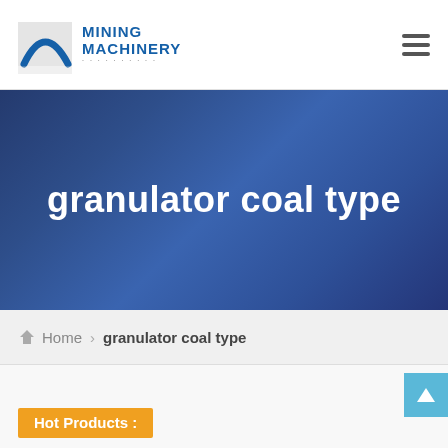MINING MACHINERY
granulator coal type
Home > granulator coal type
Hot Products :